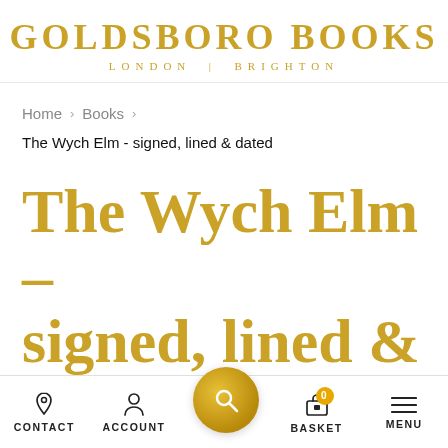[Figure (logo): Goldsboro Books logo with 'GOLDSBORO BOOKS' in large gold serif letters and 'LONDON | BRIGHTON' subtitle below]
Home > Books >
The Wych Elm - signed, lined & dated
The Wych Elm - signed, lined & dated
CONTACT  ACCOUNT  [search]  BASKET 0  MENU